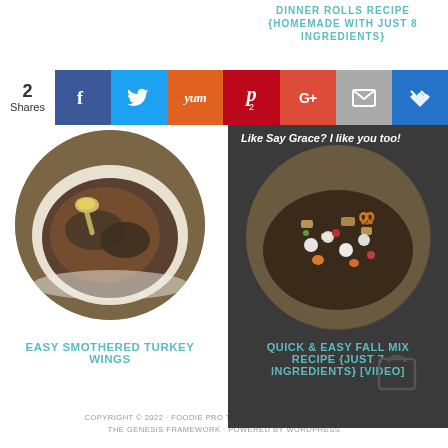DINNER ROLLS RECIPE {HOMEMADE WITH JUST 8 INGREDIENTS}
[Figure (infographic): Social share bar with Facebook, Twitter, Yummly, Pinterest (2), Google+, Email, Bloglovin buttons. Share count: 2 Shares.]
[Figure (photo): Round plate with smothered turkey wings in gravy with a spoon]
[Figure (photo): Round bowl with fall mix snack recipe containing colorful cereals and candies, on dark background. Caption: Like Say Grace? I like you too!]
EASY SMOTHERED TURKEY WINGS
QUICK & EASY FALL MIX RECIPE {JUST 7 INGREDIENTS} [VIDEO]
[Figure (illustration): Shopping bag icon]
COPYRIGHT © 2022 · FOODIE PRO THEME BY SHAY BOCKS · LOG ON THE GENESIS FRAMEWORK · POWERED BY WORDPRESS